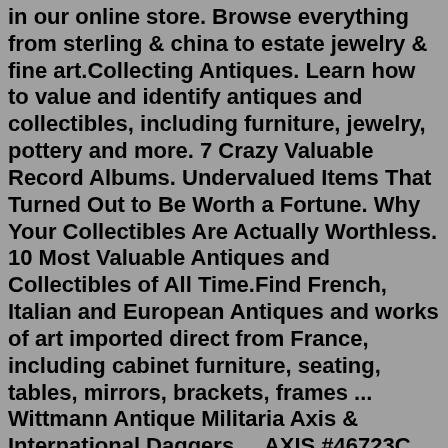in our online store. Browse everything from sterling & china to estate jewelry & fine art.Collecting Antiques. Learn how to value and identify antiques and collectibles, including furniture, jewelry, pottery and more. 7 Crazy Valuable Record Albums. Undervalued Items That Turned Out to Be Worth a Fortune. Why Your Collectibles Are Actually Worthless. 10 Most Valuable Antiques and Collectibles of All Time.Find French, Italian and European Antiques and works of art imported direct from France, including cabinet furniture, seating, tables, mirrors, brackets, frames ... Wittmann Antique Militaria Axis & International Daggers ... AXIS #46723C Italian MVSN Model 1932 with Blued Scabbard. This Model 1932 has the traditional aluminum hilt which features a serpent like eagle head pommel with the bird looking to the viewer's right. The aluminum hilt extends downward on both sides and finished up with a crossguard ...Italian Mandolin for Sale. Browse TODAY's SELECTED Italian Mandolin for SALE, BEST OFFER and